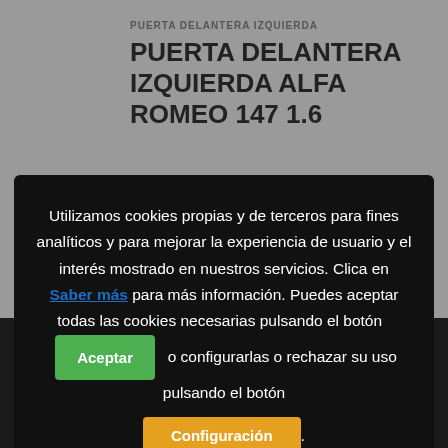PUERTA DELANTERA IZQUIERDA
PUERTA DELANTERA IZQUIERDA ALFA ROMEO 147 1.6
Utilizamos cookies propias y de terceros para fines analíticos y para mejorar la experiencia de usuario y el interés mostrado en nuestros servicios. Clica en Saber más para más información. Puedes aceptar todas las cookies necesarias pulsando el botón Aceptar o configurarlas o rechazar su uso pulsando el botón Configuración.
[Figure (logo): Desguace Paris logo with Eiffel Tower icon and text DESGUACE PARIS]
[Figure (illustration): WhatsApp green circle icon]